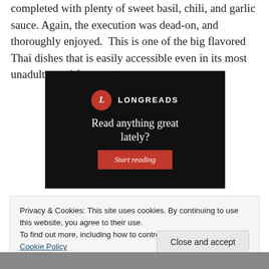completed with plenty of sweet basil, chili, and garlic sauce. Again, the execution was dead-on, and thoroughly enjoyed.  This is one of the big flavored Thai dishes that is easily accessible even in its most unadulterated form.
[Figure (screenshot): Longreads advertisement banner with black background, red circle logo with 'L', text 'Read anything great lately?' and a red 'Start reading' button]
Privacy & Cookies: This site uses cookies. By continuing to use this website, you agree to their use.
To find out more, including how to control cookies, see here: Cookie Policy
Close and accept